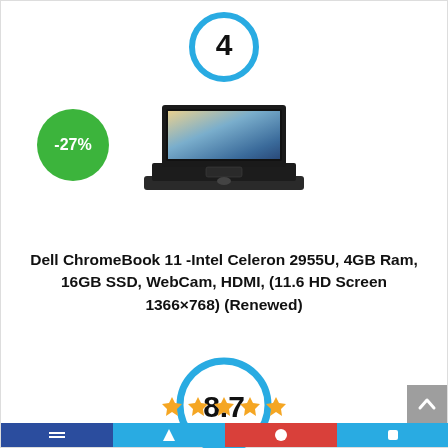[Figure (other): Blue circle with number 4 inside, indicating rank 4]
[Figure (other): Green circle badge showing -27% discount]
[Figure (photo): Product photo of a Dell Chromebook 11 laptop]
Dell ChromeBook 11 -Intel Celeron 2955U, 4GB Ram, 16GB SSD, WebCam, HDMI, (11.6 HD Screen 1366×768) (Renewed)
[Figure (other): Blue circle with score 8.7 inside and a Score label below]
[Figure (other): Star rating row with orange/gold stars]